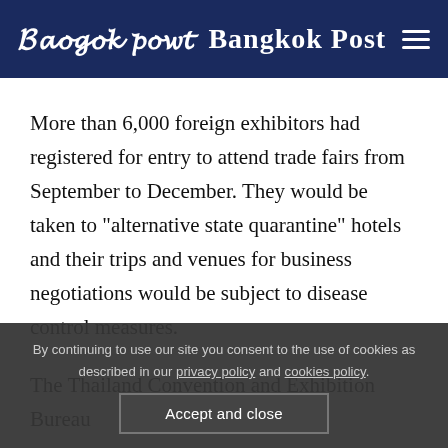Bangkok Post
More than 6,000 foreign exhibitors had registered for entry to attend trade fairs from September to December. They would be taken to "alternative state quarantine" hotels and their trips and venues for business negotiations would be subject to disease control measures.
The Thailand Convention and Exhibition Bureau
By continuing to use our site you consent to the use of cookies as described in our privacy policy and cookies policy.
Accept and close